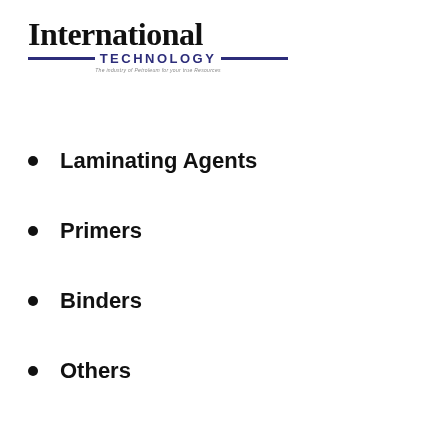[Figure (logo): International Technology company logo with bold serif 'International' text above blue 'TECHNOLOGY' text flanked by horizontal blue lines and a small italic tagline below]
Laminating Agents
Primers
Binders
Others